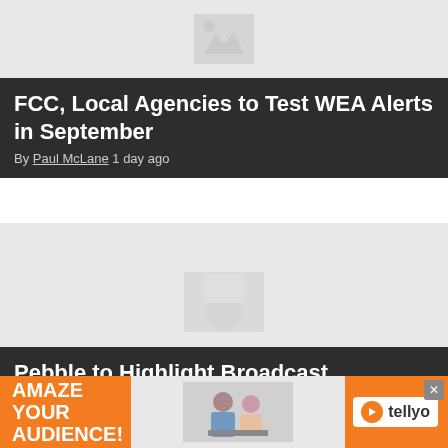[Figure (photo): Placeholder image thumbnail for first article]
FCC, Local Agencies to Test WEA Alerts in September
By Paul McLane 1 day ago
[Figure (photo): Placeholder image thumbnail for second article]
Pebble to Highlight Broadcast Automation, Cloud Solutions at 2022 IBC Show
By TVT Staff 2 days ago
[Figure (illustration): Advertisement banner: AMAZE YOUR AUDIENCE! with tellyo logo and photo of two people at laptop]